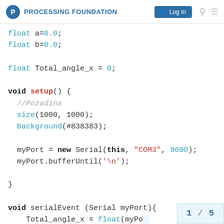PROCESSING FOUNDATION  Log In
float a=0.0;
float b=0.0;

float Total_angle_x = 0;

void setup() {
  //Pozadina
  size(1000, 1000);
  background(#838383);

  myPort = new Serial(this, "COM3", 9600);
  myPort.bufferUntil('\n');

}

void serialEvent (Serial myPort){
    Total_angle_x = float(myPo...
}